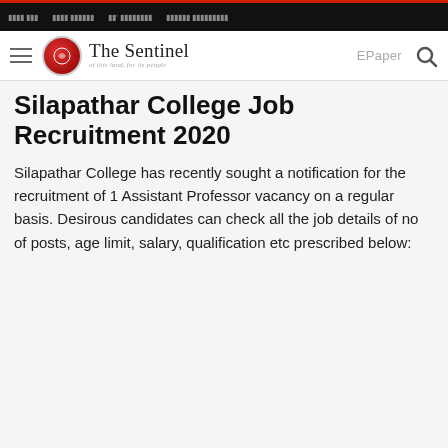The Sentinel - of this land, for its people
Silapathar College Job Recruitment 2020
Silapathar College has recently sought a notification for the recruitment of 1 Assistant Professor vacancy on a regular basis. Desirous candidates can check all the job details of no of posts, age limit, salary, qualification etc prescribed below: